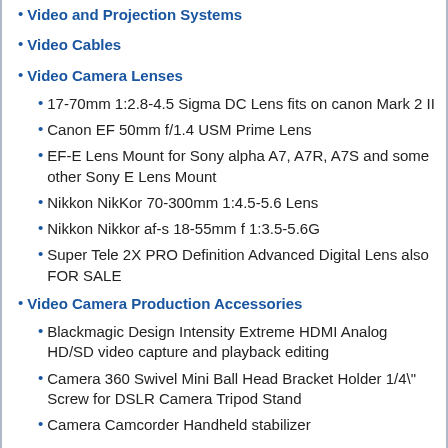Video and Projection Systems
Video Cables
Video Camera Lenses
17-70mm 1:2.8-4.5 Sigma DC Lens fits on canon Mark 2 II
Canon EF 50mm f/1.4 USM Prime Lens
EF-E Lens Mount for Sony alpha A7, A7R, A7S and some other Sony E Lens Mount
Nikkon NikKor 70-300mm 1:4.5-5.6 Lens
Nikkon Nikkor af-s 18-55mm f 1:3.5-5.6G
Super Tele 2X PRO Definition Advanced Digital Lens also FOR SALE
Video Camera Production Accessories
Blackmagic Design Intensity Extreme HDMI Analog HD/SD video capture and playback editing
Camera 360 Swivel Mini Ball Head Bracket Holder 1/4" Screw for DSLR Camera Tripod Stand
Camera Camcorder Handheld stabilizer